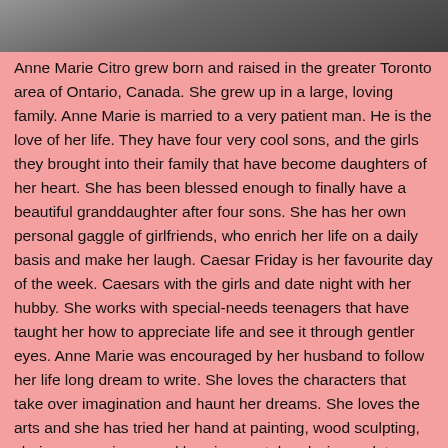[Figure (photo): Partial photo of a person, cropped at top of page]
Anne Marie Citro grew born and raised in the greater Toronto area of Ontario, Canada. She grew up in a large, loving family. Anne Marie is married to a very patient man. He is the love of her life. They have four very cool sons, and the girls they brought into their family that have become daughters of her heart. She has been blessed enough to finally have a beautiful granddaughter after four sons. She has her own personal gaggle of girlfriends, who enrich her life on a daily basis and make her laugh. Caesar Friday is her favourite day of the week. Caesars with the girls and date night with her hubby. She works with special-needs teenagers that have taught her how to appreciate life and see it through gentler eyes. Anne Marie was encouraged by her husband to follow her life long dream to write. She loves the characters that take over imagination and haunt her dreams. She loves the arts and she has tried her hand at painting, wood sculpting, chainsaw carving, wood burning, metal and wire sculptures. Yes, her husband is a very patient man! Anne Marie is an avid reader and enjoys about three books per week. But nothing makes her happier than riding on the back of her husband's Harley and throwing her arms out and feeling the wind race by. Anne